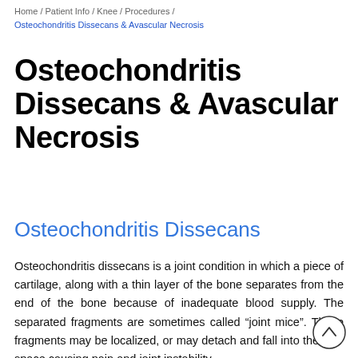Home / Patient Info / Knee / Procedures / Osteochondritis Dissecans & Avascular Necrosis
Osteochondritis Dissecans & Avascular Necrosis
Osteochondritis Dissecans
Osteochondritis dissecans is a joint condition in which a piece of cartilage, along with a thin layer of the bone separates from the end of the bone because of inadequate blood supply. The separated fragments are sometimes called “joint mice”. These fragments may be localized, or may detach and fall into the joint space causing pain and joint instability.